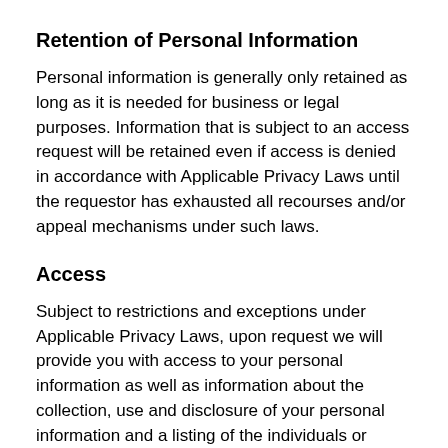Retention of Personal Information
Personal information is generally only retained as long as it is needed for business or legal purposes. Information that is subject to an access request will be retained even if access is denied in accordance with Applicable Privacy Laws until the requestor has exhausted all recourses and/or appeal mechanisms under such laws.
Access
Subject to restrictions and exceptions under Applicable Privacy Laws, upon request we will provide you with access to your personal information as well as information about the collection, use and disclosure of your personal information and a listing of the individuals or organizations to which your information has been disclosed. To review and correct, update or withdraw consent to the use of your personal information, please contact us.